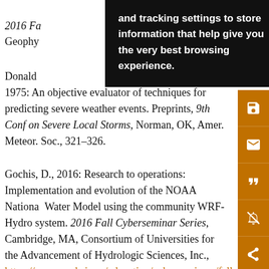the full reference beginning with '2016 Fa...' and 'Geophy...' (partially visible at top)
Donald...[partially visible], 1975: An objective evaluator of techniques for predicting severe weather events. Preprints, 9th Conf on Severe Local Storms, Norman, OK, Amer. Meteor. Soc., 321–326.
Gochis, D., 2016: Research to operations: Implementation and evolution of the NOAA National Water Model using the community WRF-Hydro system. 2016 Fall Cyberseminar Series, Cambridge, MA, Consortium of Universities for the Advancement of Hydrologic Sciences, Inc., https://www.cuahsi.org/education/cyberseminars/fall-